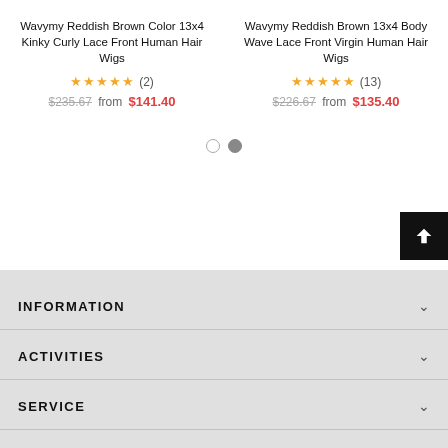Wavymy Reddish Brown Color 13x4 Kinky Curly Lace Front Human Hair Wigs
★★★★★ (2) $235.67 from $141.40
Wavymy Reddish Brown 13x4 Body Wave Lace Front Virgin Human Hair Wigs
★★★★★ (13) $226.67 from $135.40
INFORMATION
ACTIVITIES
SERVICE